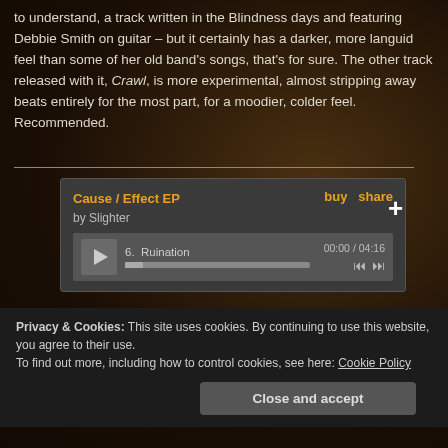to understand, a track written in the Blindness days and featuring Debbie Smith on guitar – but it certainly has a darker, more languid feel than some of her old band's songs, that's for sure. The other track released with it, Crawl, is more experimental, almost stripping away beats entirely for the most part, for a moodier, colder feel. Recommended.
[Figure (screenshot): Music player widget for 'Cause / Effect EP by Slighter' showing track 6. Ruination, time 00:00 / 04:16, with play button, progress bar, and skip controls. Buy and share links shown. Plus button on right.]
Privacy & Cookies: This site uses cookies. By continuing to use this website, you agree to their use.
To find out more, including how to control cookies, see here: Cookie Policy
Close and accept